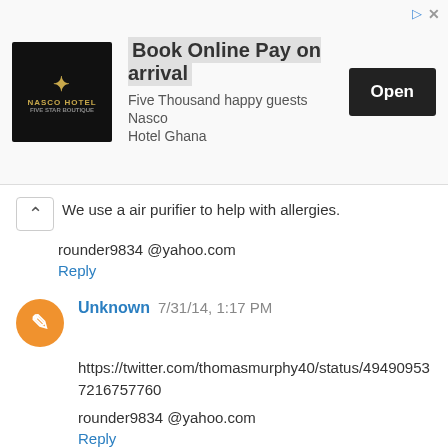[Figure (other): Advertisement banner for Nasco Hotel Ghana with logo, text 'Book Online Pay on arrival', 'Five Thousand happy guests Nasco Hotel Ghana', and an 'Open' button]
We use a air purifier to help with allergies.
rounder9834 @yahoo.com
Reply
Unknown 7/31/14, 1:17 PM
https://twitter.com/thomasmurphy40/status/494909537216757760
rounder9834 @yahoo.com
Reply
Unknown 7/31/14, 1:20 PM
I have bad allergies so it is important to keep the air clean